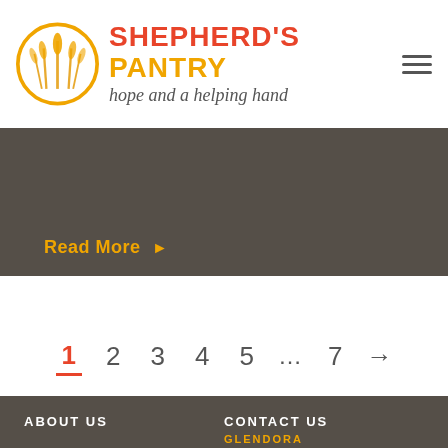[Figure (logo): Shepherd's Pantry logo: orange circle with wheat/grain stalks inside, accompanied by the brand name 'SHEPHERD'S PANTRY' in red and orange bold text, tagline 'hope and a helping hand' in italic gray]
Read More ▶
1  2  3  4  5  ...  7  →
ABOUT US
CONTACT US
GLENDORA
VOLUNTEER
657 E. Arrow Highway, Ste J